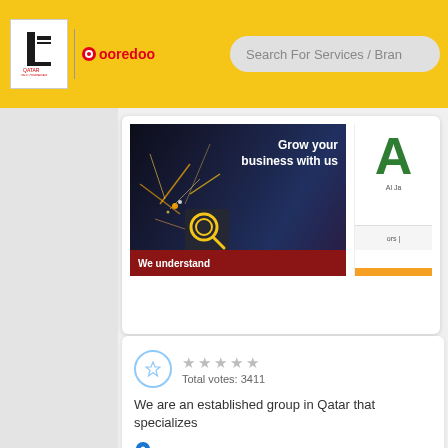Qatar Yellow Pages | Ooredoo — Search For Services / Brands
[Figure (screenshot): Advertisement banner: 'Grow your business with us' with welding sparks background, magnifier icon, and red bar saying 'We understand'. Side panel shows large green letter A with text 'Al Ja...' partially visible, and 'ors |' text. Orange accent bar at bottom right.]
Total votes: 3411
We are an established group in Qatar that specializes
B ring Road, Above Lulu express